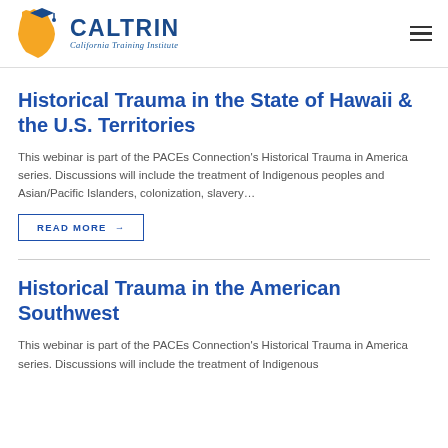[Figure (logo): CALTRIN California Training Institute logo with orange California bear/state shape and graduation cap icon, navy blue text]
Historical Trauma in the State of Hawaii & the U.S. Territories
This webinar is part of the PACEs Connection's Historical Trauma in America series. Discussions will include the treatment of Indigenous peoples and Asian/Pacific Islanders, colonization, slavery…
READ MORE →
Historical Trauma in the American Southwest
This webinar is part of the PACEs Connection's Historical Trauma in America series. Discussions will include the treatment of Indigenous